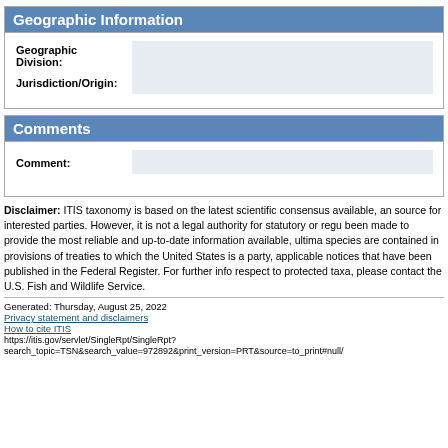Geographic Information
| Field | Value |
| --- | --- |
| Geographic Division: |  |
| Jurisdiction/Origin: |  |
Comments
| Field | Value |
| --- | --- |
| Comment: |  |
Disclaimer: ITIS taxonomy is based on the latest scientific consensus available, and is provided as a general reference source for interested parties. However, it is not a legal authority for statutory or regulatory purposes. While every effort has been made to provide the most reliable and up-to-date information available, ultimate legal requirements with respect to species are contained in provisions of treaties to which the United States is a party, wildlife statutes, regulations, and any applicable notices that have been published in the Federal Register. For further information on U.S. legal requirements with respect to protected taxa, please contact the U.S. Fish and Wildlife Service.
Generated: Thursday, August 25, 2022
Privacy statement and disclaimers
How to cite ITIS
https://itis.gov/servlet/SingleRpt/SingleRpt? search_topic=TSN&search_value=972892&print_version=PRT&source=to_print#null/